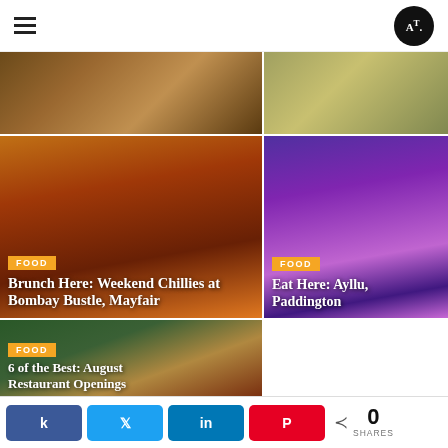AT. (logo) — navigation header
[Figure (photo): Food photo top left — pizza/flatbread dish overhead]
[Figure (photo): Food photo top right — plates of food]
[Figure (photo): Indian food dishes — Brunch Here: Weekend Chillies at Bombay Bustle, Mayfair — FOOD tag]
FOOD
Brunch Here: Weekend Chillies at Bombay Bustle, Mayfair
[Figure (photo): Carnival dancers in costume — Eat Here: Ayllu, Paddington — FOOD tag]
FOOD
Eat Here: Ayllu, Paddington
[Figure (photo): Food dishes — 6 of the Best: August Restaurant Openings — FOOD tag]
FOOD
6 of the Best: August Restaurant Openings
Share buttons: Facebook, Twitter, LinkedIn, Pinterest — 0 SHARES